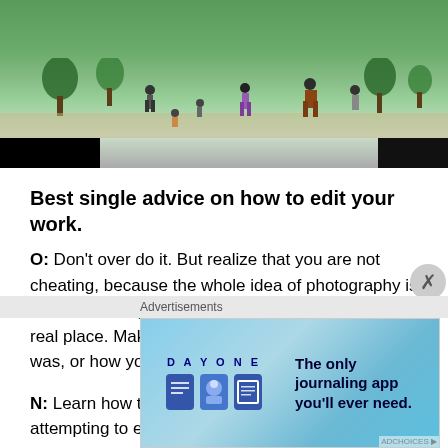[Figure (photo): Outdoor park scene with people walking, children playing near water, trees and greenery in background, taken in what appears to be a tropical or subtropical location]
Best single advice on how to edit your work.
O: Don't over do it. But realize that you are not cheating, because the whole idea of photography is construct. Images are pretending to be a window to a real place. Make the colour and the feeling like it was, or how you remember it was.
N: Learn how to use the software first before attempting to edit your work. Follow free tutorials online and keep practicing. Don't overdo on the editing, let your pictures
Advertisements
[Figure (screenshot): DAY ONE app advertisement — 'The only journaling app you'll ever need.' with app icons shown on blue gradient background]